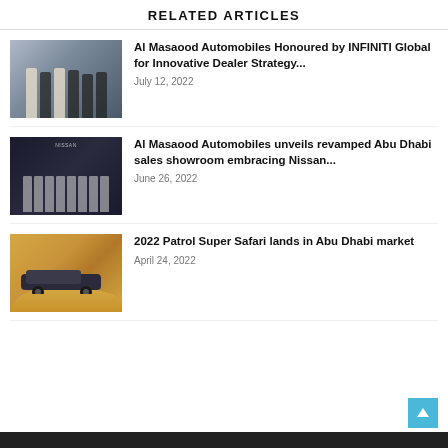RELATED ARTICLES
[Figure (photo): Group of people in formal attire at an automobile event]
Al Masaood Automobiles Honoured by INFINITI Global for Innovative Dealer Strategy...
July 12, 2022
[Figure (photo): People at Nissan showroom ribbon cutting ceremony]
Al Masaood Automobiles unveils revamped Abu Dhabi sales showroom embracing Nissan...
June 26, 2022
[Figure (photo): 2022 Patrol Super Safari SUV driving on sand dunes]
2022 Patrol Super Safari lands in Abu Dhabi market
April 24, 2022